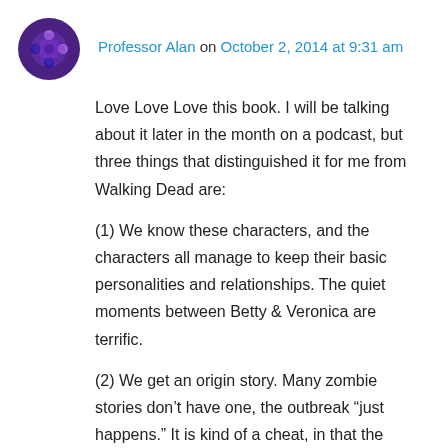[Figure (illustration): Purple avatar icon with puzzle-piece style design]
Professor Alan on October 2, 2014 at 9:31 am
Love Love Love this book. I will be talking about it later in the month on a podcast, but three things that distinguished it for me from Walking Dead are:
(1) We know these characters, and the characters all manage to keep their basic personalities and relationships. The quiet moments between Betty & Veronica are terrific.
(2) We get an origin story. Many zombie stories don't have one, the outbreak “just happens.” It is kind of a cheat, in that the Archie world has magic, but nonetheless … I dig the fact that there is an origin story, and one that in the